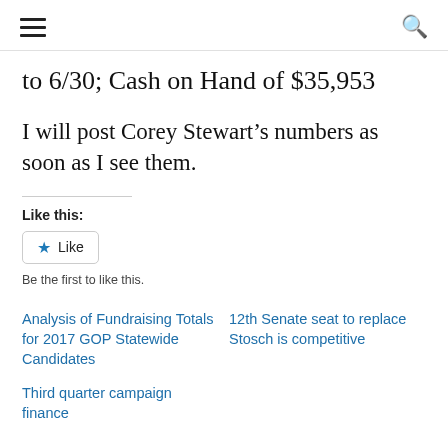≡  🔍
to 6/30; Cash on Hand of $35,953
I will post Corey Stewart's numbers as soon as I see them.
Like this:
★ Like
Be the first to like this.
Analysis of Fundraising Totals for 2017 GOP Statewide Candidates
12th Senate seat to replace Stosch is competitive
Third quarter campaign finance